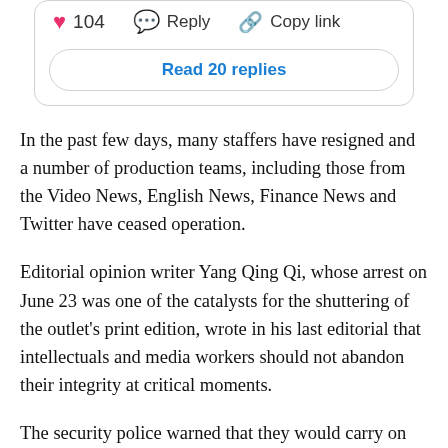[Figure (screenshot): Social media interaction card showing heart icon with 104 likes, Reply button, Copy link button, and a 'Read 20 replies' button]
In the past few days, many staffers have resigned and a number of production teams, including those from the Video News, English News, Finance News and Twitter have ceased operation.
Editorial opinion writer Yang Qing Qi, whose arrest on June 23 was one of the catalysts for the shuttering of the outlet's print edition, wrote in his last editorial that intellectuals and media workers should not abandon their integrity at critical moments.
The security police warned that they would carry on their investigation and might arrest other staff members.